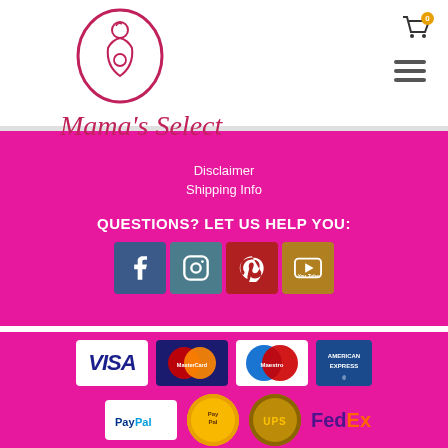[Figure (logo): Mama's Select logo with oval mother and child icon in pink, and cursive brand name below]
Disclaimer
Shipping Info
QUESTIONS? LET US HELP YOU:
[Figure (infographic): Social media icons: Facebook, Instagram, Pinterest, YouTube]
[Figure (infographic): Payment method logos: VISA, MasterCard, Maestro, American Express, PayPal, PayPal coin, UPS, FedEx]